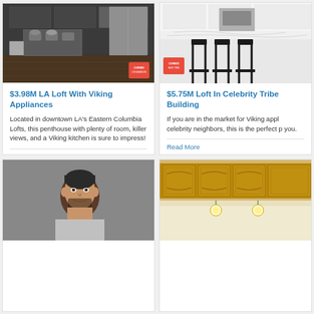[Figure (photo): Dark stainless steel professional kitchen with range and appliances]
$3.98M LA Loft With Viking Appliances
Located in downtown LA's Eastern Columbia Lofts, this penthouse with plenty of room, killer views, and a Viking kitchen is sure to impress!
Read More
Category:
[Figure (photo): White marble kitchen with black bar stools]
$5.75M Loft In Celebrity TriBe Building
If you are in the market for Viking appl celebrity neighbors, this is the perfect p you.
Read More
Category: As Seen In
[Figure (photo): Man with dark hair on grey background]
[Figure (photo): Wood cabinet kitchen with ornate details]